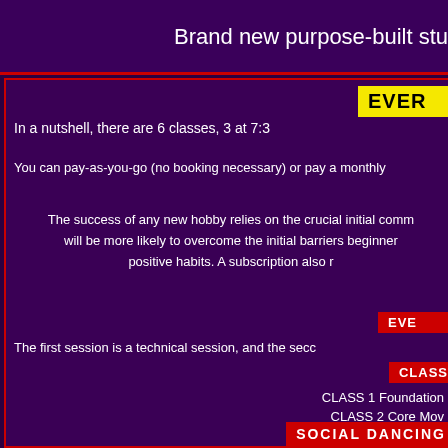Brand new purpose-built stu
EVER
In a nutshell, there are 6 classes, 3 at 7:3
You can pay-as-you-go (no booking necessary) or pay a monthly
The success of any new hobby relies on the crucial initial comm will be more likely to overcome the initial barriers beginner positive habits. A subscription also r
EVE
The first session is a technical session, and the secc
CLASS
CLASS 1 Foundation
CLASS 2 Core Mov
CLASS 3 Adva
CLASS
CLASS 1 Foundatio
CLASS 2 Core Moves & Tech
CLASS 3 Ad
SOCIAL DANCING